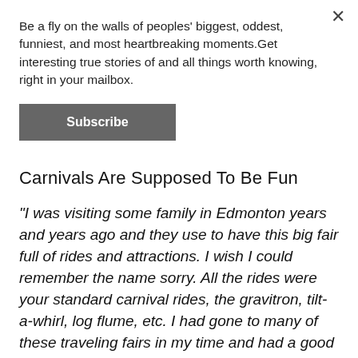Be a fly on the walls of peoples' biggest, oddest, funniest, and most heartbreaking moments.Get interesting true stories of and all things worth knowing, right in your mailbox.
Subscribe
Carnivals Are Supposed To Be Fun
"I was visiting some family in Edmonton years and years ago and they use to have this big fair full of rides and attractions. I wish I could remember the name sorry. All the rides were your standard carnival rides, the gravitron, tilt-a-whirl, log flume, etc. I had gone to many of these traveling fairs in my time and had a good